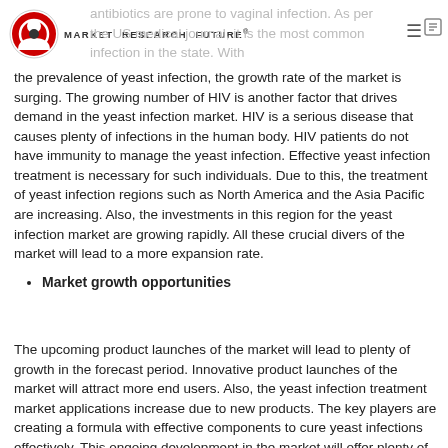MARKET RESEARCH FUTURE
antibiotics are prone to vaginal infection. As per the US medical journal, it is the most common infection in the state. With the prevalence of yeast infection, the growth rate of the market is surging. The growing number of HIV is another factor that drives demand in the yeast infection market. HIV is a serious disease that causes plenty of infections in the human body. HIV patients do not have immunity to manage the yeast infection. Effective yeast infection treatment is necessary for such individuals. Due to this, the treatment of yeast infection regions such as North America and the Asia Pacific are increasing. Also, the investments in this region for the yeast infection market are growing rapidly. All these crucial divers of the market will lead to a more expansion rate.
Market growth opportunities
The upcoming product launches of the market will lead to plenty of growth in the forecast period. Innovative product launches of the market will attract more end users. Also, the yeast infection treatment market applications increase due to new products. The key players are creating a formula with effective components to cure yeast infections effectively. This ongoing development in the market will offer plenty of choices for the